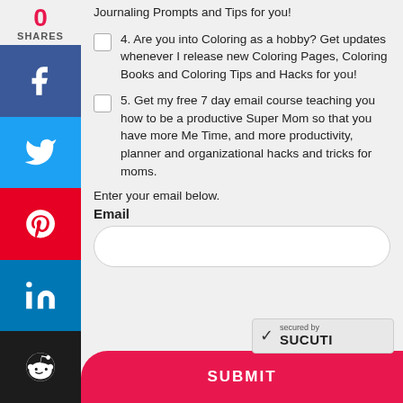Journaling Prompts and Tips for you!
4. Are you into Coloring as a hobby? Get updates whenever I release new Coloring Pages, Coloring Books and Coloring Tips and Hacks for you!
5. Get my free 7 day email course teaching you how to be a productive Super Mom so that you have more Me Time, and more productivity, planner and organizational hacks and tricks for moms.
Enter your email below.
Email
SUBMIT